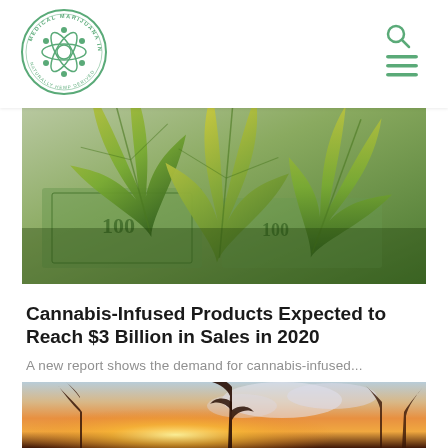[Figure (logo): Medical Marijuana Inc circular logo with green border and atomic/cannabis design]
[Figure (photo): Cannabis leaves on top of US dollar bills, close-up photo]
Cannabis-Infused Products Expected to Reach $3 Billion in Sales in 2020
A new report shows the demand for cannabis-infused...
[Figure (photo): Cannabis plants silhouetted against a dramatic sunset sky with clouds]